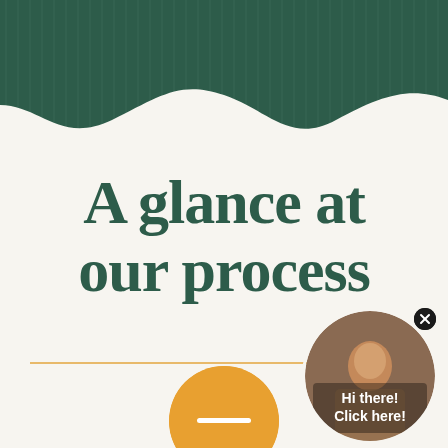[Figure (illustration): Dark teal/green wavy decorative header band with vertical line texture pattern, wave-shaped bottom edge]
A glance at our process
[Figure (photo): Circular chat widget in bottom right showing a woman's face with overlay text 'Hi there! Click here!' and an X close button in the top right of the circle]
[Figure (illustration): Golden/amber semicircle at the bottom center with a minus/dash icon, partially cut off at page bottom]